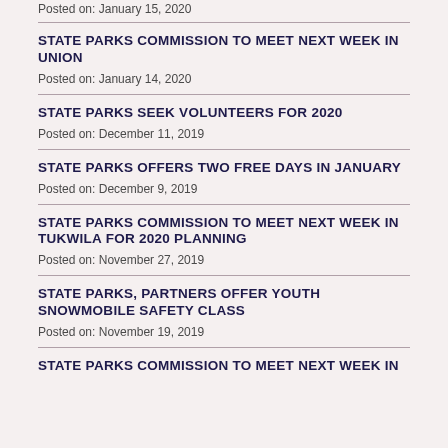Posted on: January 15, 2020
STATE PARKS COMMISSION TO MEET NEXT WEEK IN UNION
Posted on: January 14, 2020
STATE PARKS SEEK VOLUNTEERS FOR 2020
Posted on: December 11, 2019
STATE PARKS OFFERS TWO FREE DAYS IN JANUARY
Posted on: December 9, 2019
STATE PARKS COMMISSION TO MEET NEXT WEEK IN TUKWILA FOR 2020 PLANNING
Posted on: November 27, 2019
STATE PARKS, PARTNERS OFFER YOUTH SNOWMOBILE SAFETY CLASS
Posted on: November 19, 2019
STATE PARKS COMMISSION TO MEET NEXT WEEK IN